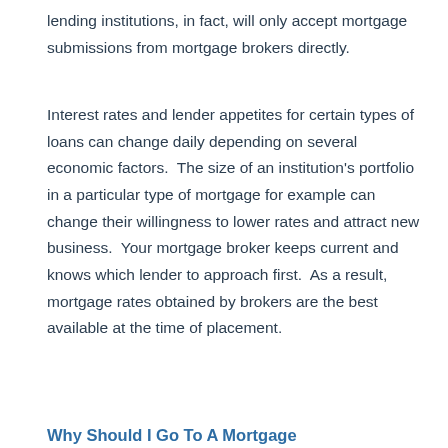lending institutions, in fact, will only accept mortgage submissions from mortgage brokers directly.
Interest rates and lender appetites for certain types of loans can change daily depending on several economic factors.  The size of an institution's portfolio in a particular type of mortgage for example can change their willingness to lower rates and attract new business.  Your mortgage broker keeps current and knows which lender to approach first.  As a result, mortgage rates obtained by brokers are the best available at the time of placement.
Why Should I Go To A Mortgage